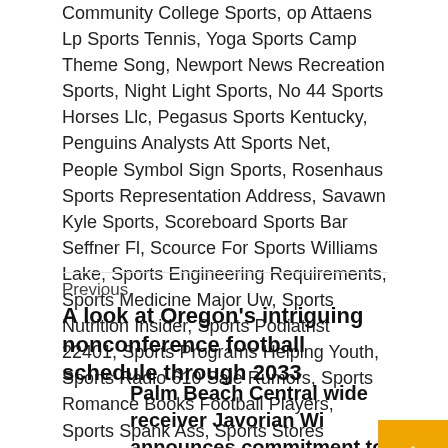Community College Sports, op Attaens Lp Sports Tennis, Yoga Sports Camp Theme Song, Newport News Recreation Sports, Night Light Sports, No 44 Sports Horses Llc, Pegasus Sports Kentucky, Penguins Analysts Att Sports Net, People Symbol Sign Sports, Rosenhaus Sports Representation Address, Savawn Kyle Sports, Scoreboard Sports Bar Seffner Fl, Scource For Sports Williams Lake, Sports Engineering Requirements, Sports Medicine Major Uw, Sports Nutrition Insider, Sports Podiatrist 22401, Sports Programs Helping Youth, Sports Radio 610 Sale Rumors, Sports Romance Books Football Players, Sports Spank Ass, Sports Stores Jonesboro Ar, Terrele Pryor Cbs Sports, The Daily Sports Football, The Slinkys Sports Teams, Usa Sports Olympic Tricep, Water Related Sports, What Kind Sports Are There, Yahoo Sports Kansas:Uni
Previous
A look at Oregon's intriguing nonconference football schedule through 2033
Palm Beach Central wide receiver Javorian Wi announces commitment to Central Michigan football